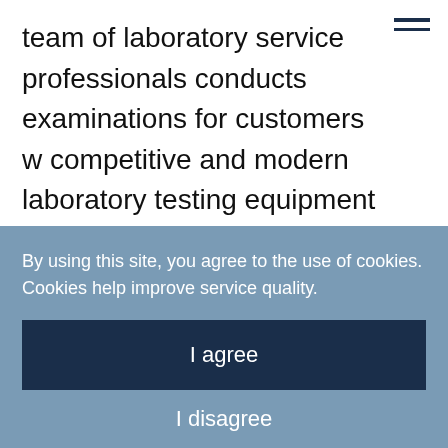team of laboratory service professionals conducts examinations for customers w competitive and modern laboratory testing equipment and methods, as well as provides training, scientific research, further education and international cooperation in the field of laboratory medicine.
By using this site, you agree to the use of cookies. Cookies help improve service quality.
I agree
I disagree